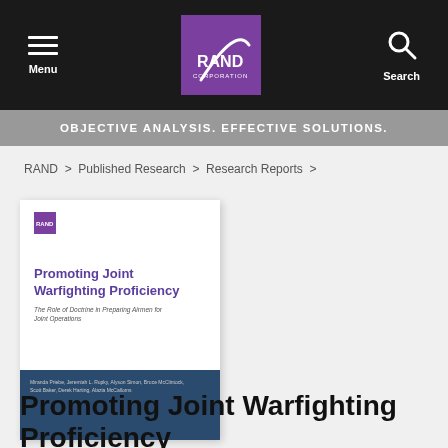Menu | RAND Corporation | Search
OBJECTIVE ANALYSIS. EFFECTIVE SOLUTIONS.
RAND > Published Research > Research Reports >
[Figure (photo): RAND Corporation book cover for 'Promoting Joint Warfighting Proficiency: The Role of Doctrine in Preparing Airmen for Joint Operations']
Promoting Joint Warfighting Proficiency